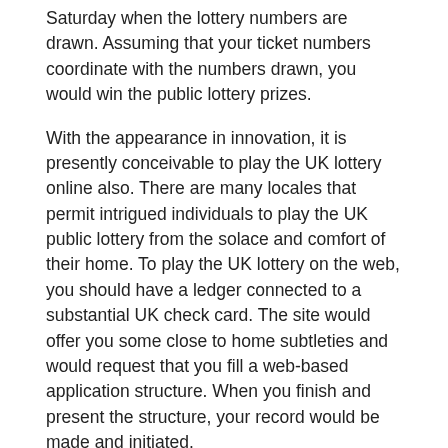Saturday when the lottery numbers are drawn. Assuming that your ticket numbers coordinate with the numbers drawn, you would win the public lottery prizes.
With the appearance in innovation, it is presently conceivable to play the UK lottery online also. There are many locales that permit intrigued individuals to play the UK public lottery from the solace and comfort of their home. To play the UK lottery on the web, you should have a ledger connected to a substantial UK check card. The site would offer you some close to home subtleties and would request that you fill a web-based application structure. When you finish and present the structure, your record would be made and initiated.
Posted in Uncategorized